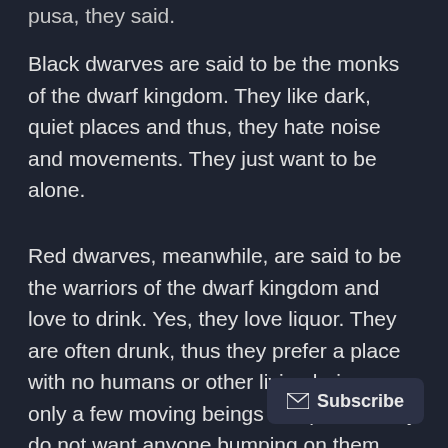pusa, they said.
Black dwarves are said to be the monks of the dwarf kingdom. They like dark, quiet places and thus, they hate noise and movements. They just want to be alone.
Red dwarves, meanwhile, are said to be the warriors of the dwarf kingdom and love to drink. Yes, they love liquor. They are often drunk, thus they prefer a place with no humans or other living beings, or only a few moving beings in a place. They do not want anyone bumping on them during fe... sessions, my psychic friend said.
Subscribe